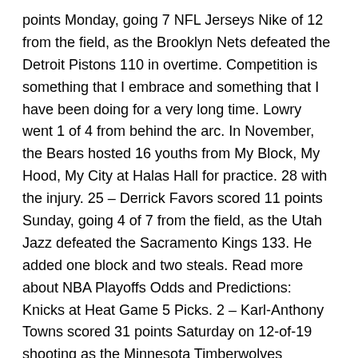points Monday, going 7 NFL Jerseys Nike of 12 from the field, as the Brooklyn Nets defeated the Detroit Pistons 110 in overtime. Competition is something that I embrace and something that I have been doing for a very long time. Lowry went 1 of 4 from behind the arc. In November, the Bears hosted 16 youths from My Block, My Hood, My City at Halas Hall for practice. 28 with the injury. 25 – Derrick Favors scored 11 points Sunday, going 4 of 7 from the field, as the Utah Jazz defeated the Sacramento Kings 133. He added one block and two steals. Read more about NBA Playoffs Odds and Predictions: Knicks at Heat Game 5 Picks. 2 – Karl-Anthony Towns scored 31 points Saturday on 12-of-19 shooting as the Minnesota Timberwolves Wholesale NFL Jerseys China lost to